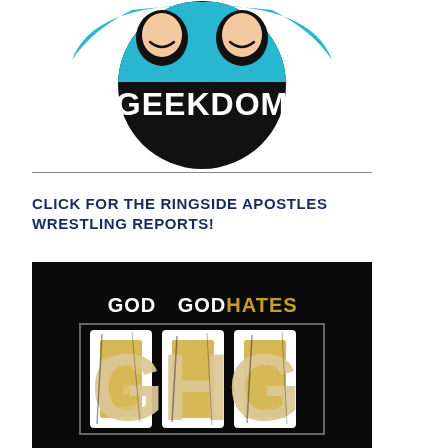[Figure (logo): The Geekdom podcast logo: circular black badge with two cartoon figures against a cyan/blue background, text '-THE- GEEKDOM' in white bold letters on black]
CLICK FOR THE RINGSIDE APOSTLES WRESTLING REPORTS!
[Figure (logo): God Hates GHG logo: black background with 'GOD HATES' in white/gold text and large 'GHG' letters in distressed white with gold fill, framed by a gray rectangle]